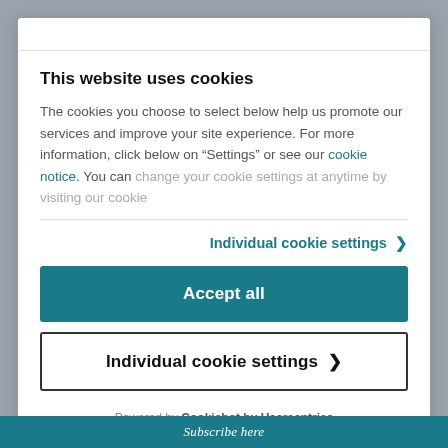This website uses cookies
The cookies you choose to select below help us promote our services and improve your site experience. For more information, click below on "Settings" or see our cookie notice. You can change your cookie settings at anytime by visiting our cookie
Individual cookie settings >
Accept all
Individual cookie settings >
Powered by Cookiebot by Usercentrics
Subscribe here